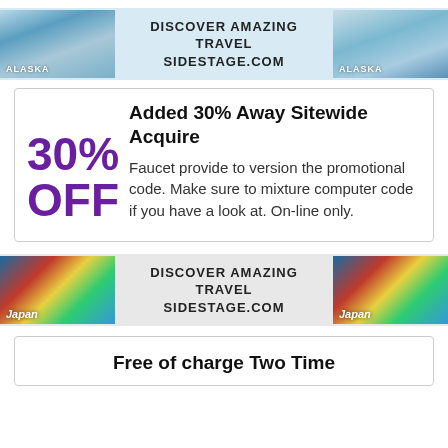[Figure (infographic): Alaska travel banner with two glacier/ice images on left and right, and text DISCOVER AMAZING TRAVEL SIDESTAGE.COM in the center]
[Figure (infographic): Coupon box with 30% OFF label on left in purple, and title 'Added 30% Away Sitewide Acquire' with description text on the right]
[Figure (infographic): Japan travel banner with two pagoda/mountain images on left and right, and text DISCOVER AMAZING TRAVEL SIDESTAGE.COM in the center]
[Figure (infographic): Coupon box with title 'Free of charge Two Time' partially visible at bottom]